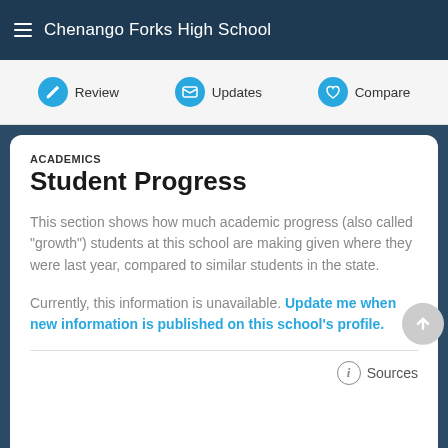Chenango Forks High School
Review | Updates | Compare
ACADEMICS
Student Progress
This section shows how much academic progress (also called “growth”) students at this school are making given where they were last year, compared to similar students in the state.
Currently, this information is unavailable. Update me when new information is published on this school's profile.
Sources